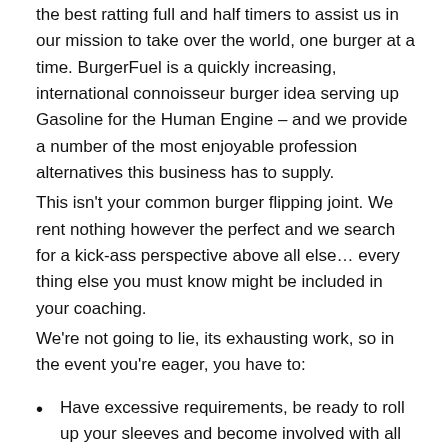the best ratting full and half timers to assist us in our mission to take over the world, one burger at a time. BurgerFuel is a quickly increasing, international connoisseur burger idea serving up Gasoline for the Human Engine – and we provide a number of the most enjoyable profession alternatives this business has to supply.
This isn't your common burger flipping joint. We rent nothing however the perfect and we search for a kick-ass perspective above all else… every thing else you must know might be included in your coaching.
We're not going to lie, its exhausting work, so in the event you're eager, you have to:
Have excessive requirements, be ready to roll up your sleeves and become involved with all points of working a BurgerFuel eating places
Have an excellent work ethos and perspective